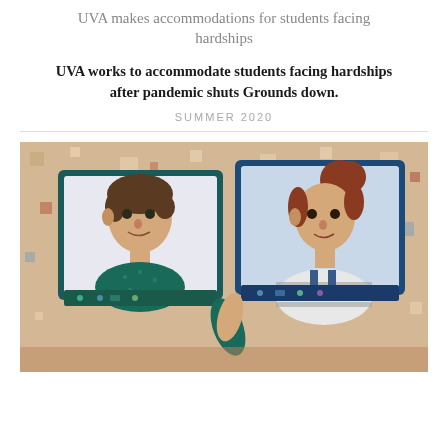UVA makes accommodations for students facing hardships
UVA works to accommodate students facing hardships after pandemic shuts Grounds down.
SUMMER 2020
[Figure (illustration): Illustration of two people facing each other, each with a laptop/tablet screen replacing their head, depicting remote/virtual communication during the pandemic. Illustrated in a flat, stylized art style with warm tan background and colorful geometric shapes scattered around.]